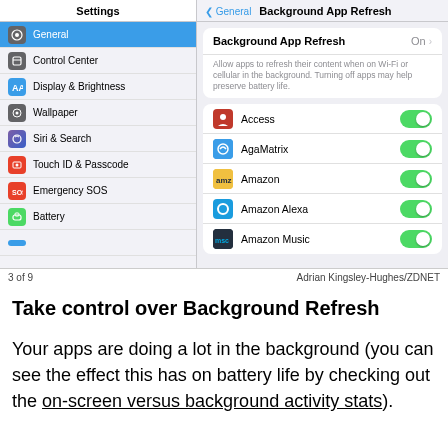[Figure (screenshot): iOS Settings screenshot showing left panel with Settings menu (General selected in blue) and right panel showing Background App Refresh settings with toggle switches enabled for Access, AgaMatrix, Amazon, Amazon Alexa, and Amazon Music apps.]
3 of 9    Adrian Kingsley-Hughes/ZDNET
Take control over Background Refresh
Your apps are doing a lot in the background (you can see the effect this has on battery life by checking out the on-screen versus background activity stats).